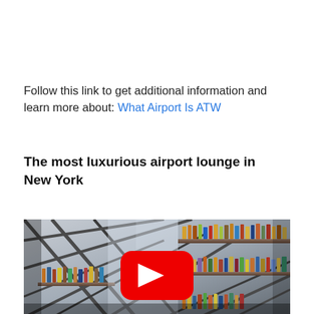Follow this link to get additional information and learn more about: What Airport Is ATW
The most luxurious airport lounge in New York
[Figure (photo): Photo of an airport lounge bar with bottles on shelves, geometric ceiling structure, with a YouTube play button overlay indicating a video thumbnail.]